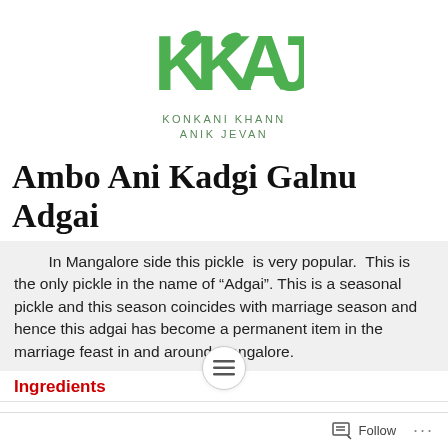[Figure (logo): KKAJ logo - stylized green letters with leaf motifs, and text KONKANI KHANN ANIK JEVAN below]
Ambo Ani Kadgi Galnu Adgai
In Mangalore side this pickle  is very popular.  This is the only pickle in the name of “Adgai”. This is a seasonal pickle and this season coincides with marriage season and hence this adgai has become a permanent item in the marriage feast in and around Mangalore.
Ingredients
Follow ...